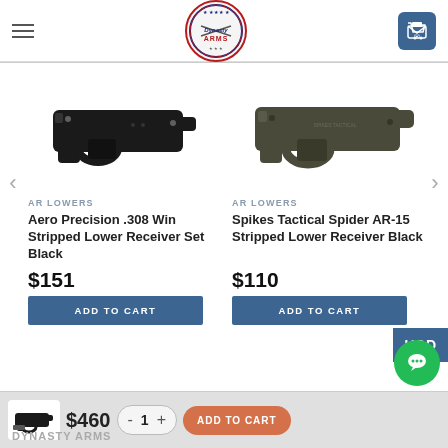Dynasty Arms
[Figure (photo): Aero Precision .308 Win Stripped Lower Receiver Set Black - black anodized AR lower receiver]
AR LOWERS
Aero Precision .308 Win Stripped Lower Receiver Set Black
$151
[Figure (photo): Spikes Tactical Spider AR-15 Stripped Lower Receiver Black - grey/green anodized AR lower receiver]
AR LOWERS
Spikes Tactical Spider AR-15 Stripped Lower Receiver Black
$110
DYNASTY ARMS   $460   - 1 +   ADD TO CART